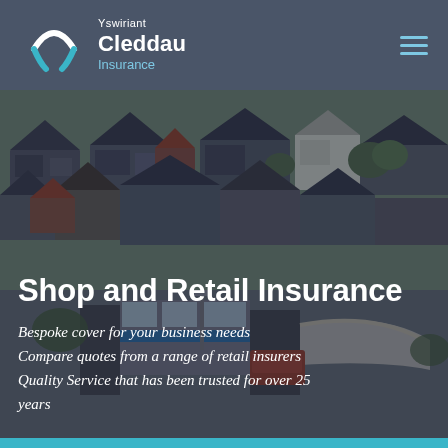[Figure (logo): Cleddau Insurance logo with arc/bird icon in white and cyan, text reading Yswiriant Cleddau Insurance]
[Figure (photo): Aerial photograph of a Welsh town with residential rooftops and a town centre with retail buildings, overlaid with dark semi-transparent mask]
Shop and Retail Insurance
Bespoke cover for your business needs
Compare quotes from a range of retail insurers
Quality Service that has been trusted for over 25 years